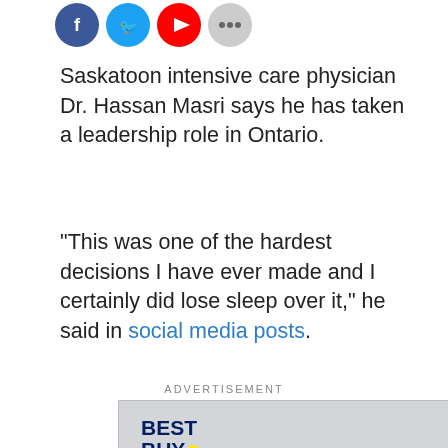[Figure (other): Social media share icons: Facebook (blue circle), Twitter (light blue circle), YouTube (red circle), more options (grey circle)]
Saskatoon intensive care physician Dr. Hassan Masri says he has taken a leadership role in Ontario.
"This was one of the hardest decisions I have ever made and I certainly did lose sleep over it," he said in social media posts.
ADVERTISEMENT
[Figure (other): Best Buy advertisement with Best Buy logo and 'Early Release' yellow text on blue diagonal banner]